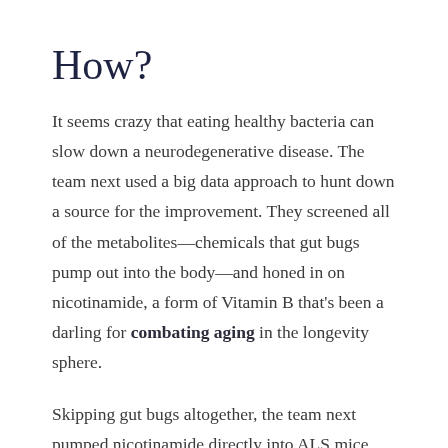How?
It seems crazy that eating healthy bacteria can slow down a neurodegenerative disease. The team next used a big data approach to hunt down a source for the improvement. They screened all of the metabolites—chemicals that gut bugs pump out into the body—and honed in on nicotinamide, a form of Vitamin B that's been a darling for combating aging in the longevity sphere.
Skipping gut bugs altogether, the team next pumped nicotinamide directly into ALS mice.